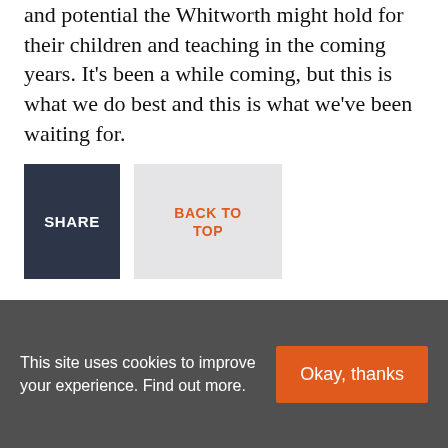and potential the Whitworth might hold for their children and teaching in the coming years. It’s been a while coming, but this is what we do best and this is what we’ve been waiting for.
SHARE
BACK TO TOP
Related Articles
[Figure (screenshot): Thumbnail images of related articles including British Council logo thumbnail and a purple/violet colored image]
This site uses cookies to improve your experience. Find out more.
Okay, thanks